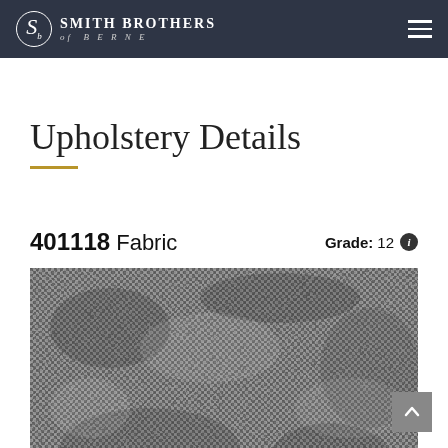Smith Brothers of Berne
Upholstery Details
401118 Fabric   Grade: 12
[Figure (photo): Close-up texture photograph of a woven fabric swatch in grey/black tones, showing intricate woven pattern]